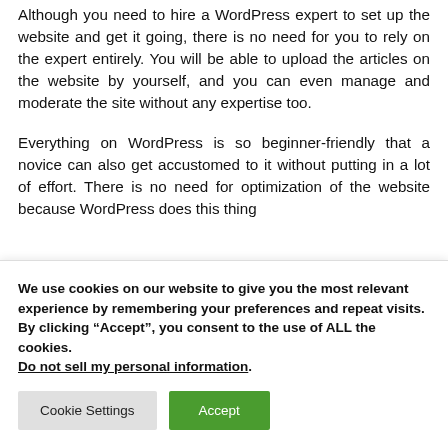Although you need to hire a WordPress expert to set up the website and get it going, there is no need for you to rely on the expert entirely. You will be able to upload the articles on the website by yourself, and you can even manage and moderate the site without any expertise too.
Everything on WordPress is so beginner-friendly that a novice can also get accustomed to it without putting in a lot of effort. There is no need for optimization of the website because WordPress does this thing
We use cookies on our website to give you the most relevant experience by remembering your preferences and repeat visits. By clicking “Accept”, you consent to the use of ALL the cookies. Do not sell my personal information.